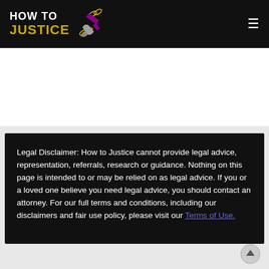HOW TO JUSTICE
Legal Disclaimer: How to Justice cannot provide legal advice, representation, referrals, research or guidance. Nothing on this page is intended to or may be relied on as legal advice. If you or a loved one believe you need legal advice, you should contact an attorney. For our full terms and conditions, including our disclaimers and fair use policy, please visit our Terms of Use.